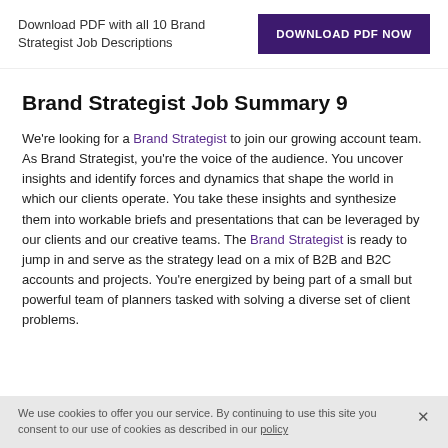Download PDF with all 10 Brand Strategist Job Descriptions
DOWNLOAD PDF NOW
Brand Strategist Job Summary 9
We're looking for a Brand Strategist to join our growing account team. As Brand Strategist, you're the voice of the audience. You uncover insights and identify forces and dynamics that shape the world in which our clients operate. You take these insights and synthesize them into workable briefs and presentations that can be leveraged by our clients and our creative teams. The Brand Strategist is ready to jump in and serve as the strategy lead on a mix of B2B and B2C accounts and projects. You're energized by being part of a small but powerful team of planners tasked with solving a diverse set of client problems.
We use cookies to offer you our service. By continuing to use this site you consent to our use of cookies as described in our policy